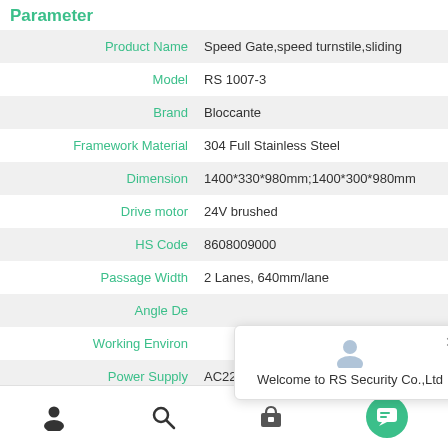Parameter
| Parameter | Value |
| --- | --- |
| Product Name | Speed Gate,speed turnstile,sliding |
| Model | RS 1007-3 |
| Brand | Bloccante |
| Framework Material | 304 Full Stainless Steel |
| Dimension | 1400*330*980mm;1400*300*980mm |
| Drive motor | 24V brushed |
| HS Code | 8608009000 |
| Passage Width | 2 Lanes, 640mm/lane |
| Angle De… |  |
| Working Environ… |  |
| Power Supply | AC220V/110V, 50/60Hz |
[Figure (screenshot): Chat popup overlay showing user avatar icon and text 'Welcome to RS Security Co.,Ltd' with a close X button]
[Figure (screenshot): Bottom navigation bar with person icon, search icon, cart icon, and teal chat bubble button]